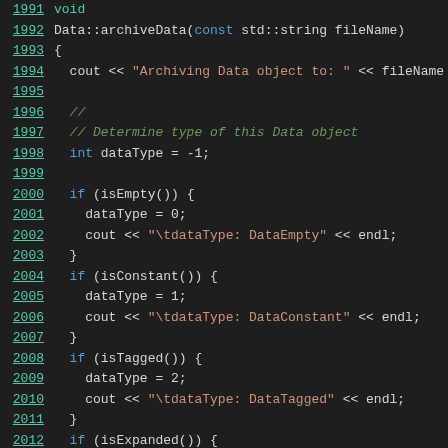Code listing lines 1991-2013 showing Data::archiveData function in C++
[Figure (screenshot): C++ source code showing archiveData function with line numbers 1991-2013, dark theme code editor. Code shows void Data::archiveData function with filename parameter, determining data type and printing type information.]